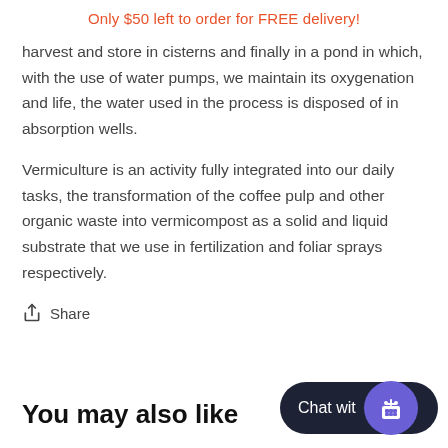Only $50 left to order for FREE delivery!
harvest and store in cisterns and finally in a pond in which, with the use of water pumps, we maintain its oxygenation and life, the water used in the process is disposed of in absorption wells.
Vermiculture is an activity fully integrated into our daily tasks, the transformation of the coffee pulp and other organic waste into vermicompost as a solid and liquid substrate that we use in fertilization and foliar sprays respectively.
Share
You may also like
[Figure (other): Chat widget button with text 'Chat wit' and a gift icon on a dark pill-shaped background with purple circle]